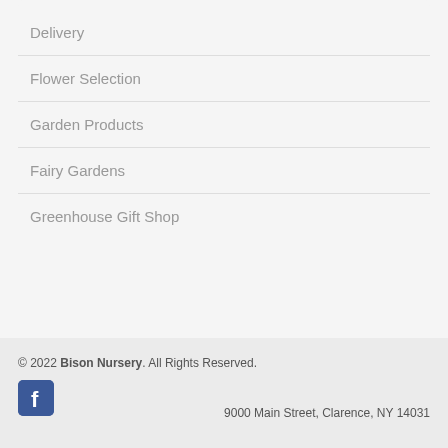Delivery
Flower Selection
Garden Products
Fairy Gardens
Greenhouse Gift Shop
© 2022 Bison Nursery. All Rights Reserved.
9000 Main Street, Clarence, NY 14031